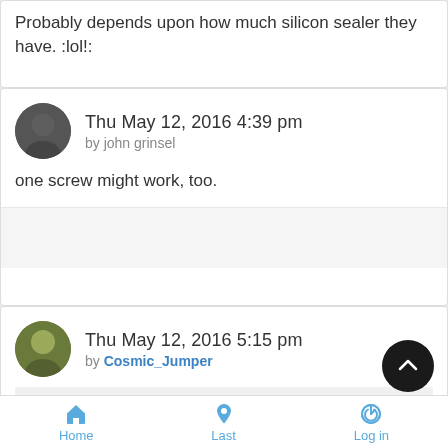Probably depends upon how much silicon sealer they have. :lol!:
Thu May 12, 2016 4:39 pm
by john grinsel
one screw might work, too.
Thu May 12, 2016 5:15 pm
by Cosmic_Jumper
Cosmic_Jumper wrote:
Would that be one screw hole at each glove box, or two